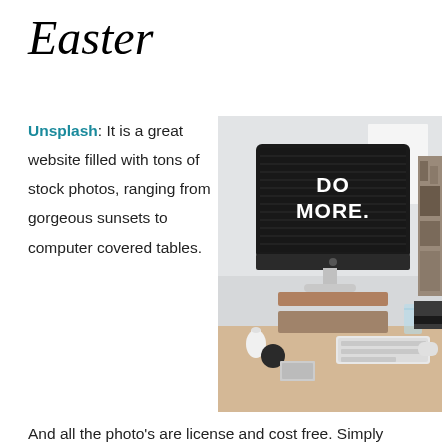Easter
Unsplash: It is a great website filled with tons of stock photos, ranging from gorgeous sunsets to computer covered tables.
[Figure (photo): Photo of an Apple iMac on a desk with 'DO MORE.' displayed on the screen, keyboard and various desk items visible.]
And all the photo's are license and cost free. Simply